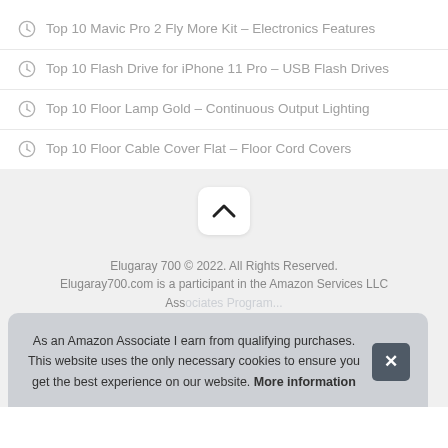Top 10 Mavic Pro 2 Fly More Kit – Electronics Features
Top 10 Flash Drive for iPhone 11 Pro – USB Flash Drives
Top 10 Floor Lamp Gold – Continuous Output Lighting
Top 10 Floor Cable Cover Flat – Floor Cord Covers
[Figure (other): Scroll-to-top button with upward chevron icon]
Elugaray 700 © 2022. All Rights Reserved. Elugaray700.com is a participant in the Amazon Services LLC Ass...
As an Amazon Associate I earn from qualifying purchases. This website uses the only necessary cookies to ensure you get the best experience on our website. More information